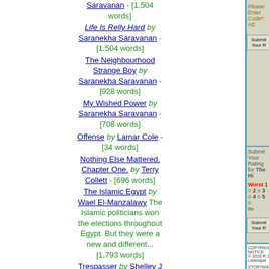Saravanan - [1,504 words]
Life Is Relly Hard by Saranekha Saravanan - [1,504 words]
The Neighbourhood Strange Boy by Saranekha Saravanan - [928 words]
My Wished Power by Saranekha Saravanan - [708 words]
Offense by Lamar Cole - [34 words]
Nothing Else Mattered. Chapter One. by Terry Collett - [696 words]
The Islamic Egypt by Wael El-Manzalawy The Islamic politicians won the elections throughout Egypt. But they were a new and different... [1,793 words]
Trespasser by Shelley J Alongi Sample chapter from my first published novel. Published 2015. Jeff and Judy meet after a fatality an... [1,759
Please Enter Code*: AE
Submit Your R
Submit Your Rating for The Hi
Worst 1 2 3 4 5 B
Submit Your R
COPYRIGHT NOTICE
© 2010 R J Levesque
STORYMANIA PUBLICATION DATE
June 2011